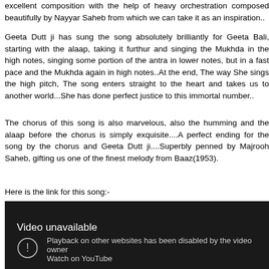excellent composition with the help of heavy orchestration composed beautifully by Nayyar Saheb from which we can take it as an inspiration..
Geeta Dutt ji has sung the song absolutely brilliantly for Geeta Bali, starting with the alaap, taking it furthur and singing the Mukhda in the high notes, singing some portion of the antra in lower notes, but in a fast pace and the Mukhda again in high notes..At the end, The way She sings the high pitch, The song enters straight to the heart and takes us to another world...She has done perfect justice to this immortal number..
The chorus of this song is also marvelous, also the humming and the alaap before the chorus is simply exquisite....A perfect ending for the song by the chorus and Geeta Dutt ji....Superbly penned by Majrooh Saheb, gifting us one of the finest melody from Baaz(1953).
Here is the link for this song:-
[Figure (screenshot): Embedded YouTube video player showing 'Video unavailable' message. Dark background with text: 'Video unavailable', 'Playback on other websites has been disabled by the video owner', 'Watch on YouTube'. An exclamation mark icon in a circle is shown.]